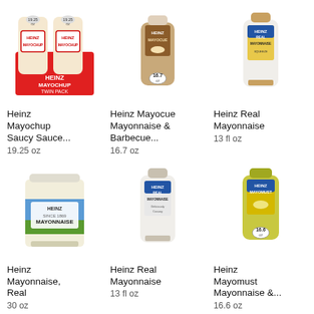[Figure (photo): Heinz Mayochup Twin Pack - two squeeze bottles with red label]
Heinz Mayochup Saucy Sauce...
19.25 oz
[Figure (photo): Heinz Mayocue bottle - brown squeeze bottle 16.7 oz]
Heinz Mayocue Mayonnaise & Barbecue...
16.7 oz
[Figure (photo): Heinz Real Mayonnaise - white squeeze bottle 13 fl oz]
Heinz Real Mayonnaise
13 fl oz
[Figure (photo): Heinz Mayonnaise Real - large jar 30 oz]
Heinz Mayonnaise, Real
30 oz
[Figure (photo): Heinz Real Mayonnaise - white squeeze bottle 13 fl oz]
Heinz Real Mayonnaise
13 fl oz
[Figure (photo): Heinz Mayomust Mayonnaise & mustard - yellow-green squeeze bottle 16.6 oz]
Heinz Mayomust Mayonnaise &...
16.6 oz